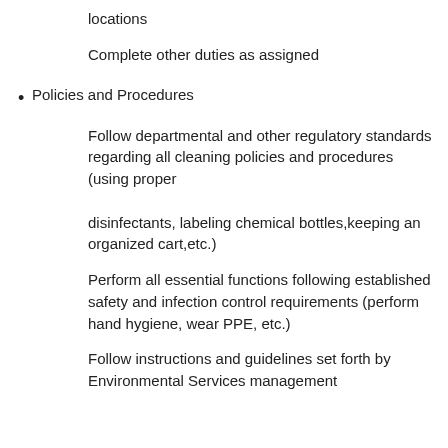locations
Complete other duties as assigned
Policies and Procedures
Follow departmental and other regulatory standards regarding all cleaning policies and procedures (using proper disinfectants, labeling chemical bottles,keeping an organized cart,etc.)
Perform all essential functions following established safety and infection control requirements (perform hand hygiene, wear PPE, etc.)
Follow instructions and guidelines set forth by Environmental Services management